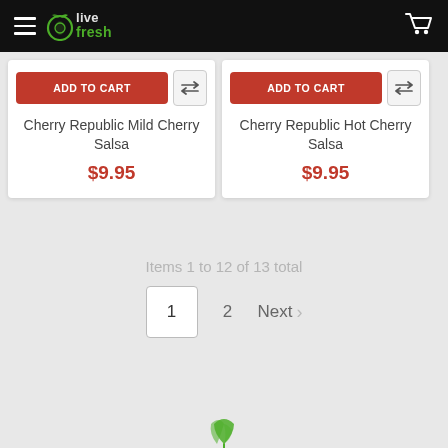[Figure (screenshot): Olive Fresh grocery store website header navigation bar with hamburger menu, Olive Fresh logo in green and white, and shopping cart icon on black background]
Cherry Republic Mild Cherry Salsa
$9.95
Cherry Republic Hot Cherry Salsa
$9.95
Items 1 to 12 of 13 total
1  2  Next ›
[Figure (logo): Olive Fresh green leaf logo at bottom of page]